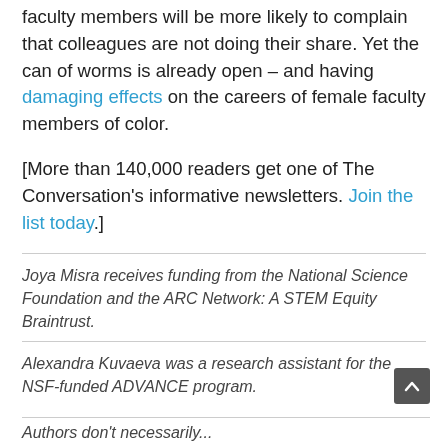faculty members will be more likely to complain that colleagues are not doing their share. Yet the can of worms is already open – and having damaging effects on the careers of female faculty members of color.
[More than 140,000 readers get one of The Conversation's informative newsletters. Join the list today.]
Joya Misra receives funding from the National Science Foundation and the ARC Network: A STEM Equity Braintrust.
Alexandra Kuvaeva was a research assistant for the NSF-funded ADVANCE program.
Authors don't necessarily...